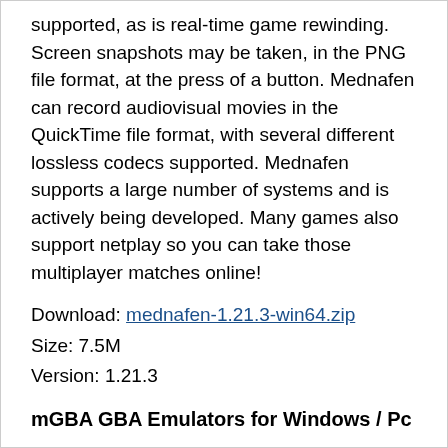supported, as is real-time game rewinding. Screen snapshots may be taken, in the PNG file format, at the press of a button. Mednafen can record audiovisual movies in the QuickTime file format, with several different lossless codecs supported. Mednafen supports a large number of systems and is actively being developed. Many games also support netplay so you can take those multiplayer matches online!
Download: mednafen-1.21.3-win64.zip
Size: 7.5M
Version: 1.21.3
mGBA GBA Emulators for Windows / Pc
mGBA GBA Emulators for Windows / Pc is a new generation of Game Boy Advance emulator. The project started in April 2013 with the goal of being fast enough to run on lower end hardware than other emulators support, without sacrificing accuracy or portability. Even in the initial version, games generally played without problems. mGBA has only